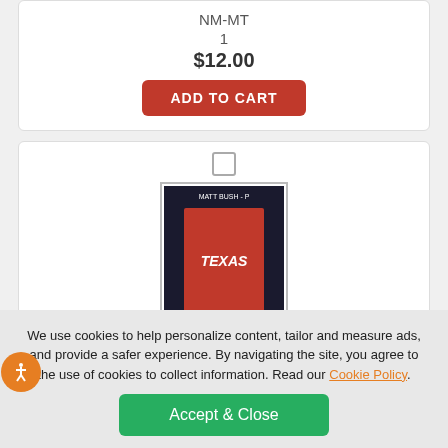NM-MT
1
$12.00
ADD TO CART
[Figure (photo): 2016 Topps Heritage #642 Matt Bush RC baseball card showing player in Texas Rangers uniform]
2016 Topps Heritage #642 Matt Bush (RC)
Team: Texas Rangers
We use cookies to help personalize content, tailor and measure ads, and provide a safer experience. By navigating the site, you agree to the use of cookies to collect information. Read our Cookie Policy.
Accept & Close